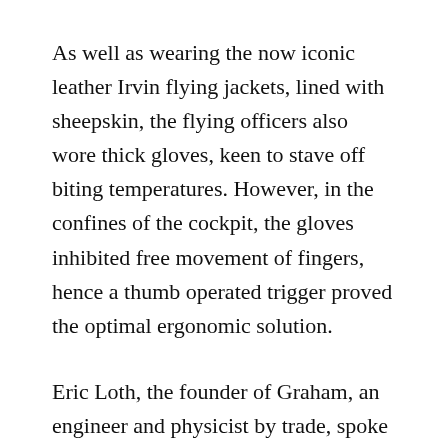As well as wearing the now iconic leather Irvin flying jackets, lined with sheepskin, the flying officers also wore thick gloves, keen to stave off biting temperatures. However, in the confines of the cockpit, the gloves inhibited free movement of fingers, hence a thumb operated trigger proved the optimal ergonomic solution.
Eric Loth, the founder of Graham, an engineer and physicist by trade, spoke to medical professionals and learned that the thumb is the fastest acting finger. Moreover, the thumb can move independently of other fingers. With this in mind and inspired by military aviation of